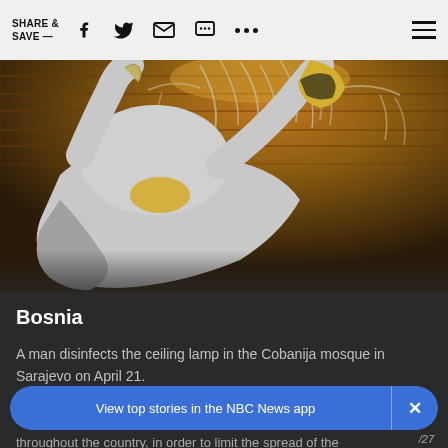SHARE & SAVE —
[Figure (photo): A person in a white protective suit and yellow face mask reaching up to disinfect a crystal chandelier against a warm wood-paneled ceiling background.]
Bosnia
A man disinfects the ceiling lamp in the Cobanija mosque in Sarajevo on April 21.
throughout the country, in order to limit the spread of the
View top stories in the NBC News app